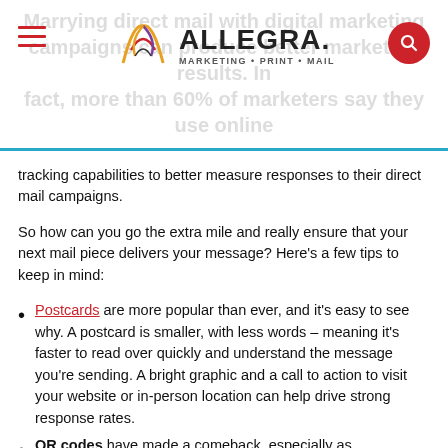Allegra Marketing Print Mail — page header with logo and navigation
tracking capabilities to better measure responses to their direct mail campaigns.
So how can you go the extra mile and really ensure that your next mail piece delivers your message? Here's a few tips to keep in mind:
Postcards are more popular than ever, and it's easy to see why. A postcard is smaller, with less words – meaning it's faster to read over quickly and understand the message you're sending. A bright graphic and a call to action to visit your website or in-person location can help drive strong response rates.
QR codes have made a comeback, especially as